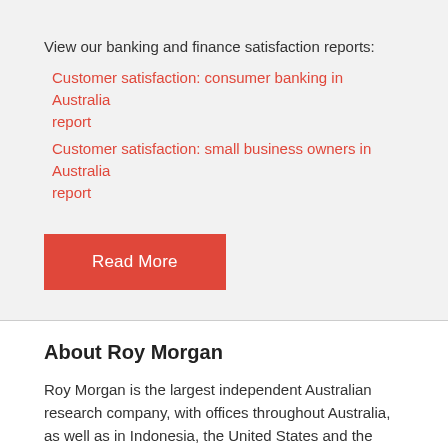View our banking and finance satisfaction reports:
Customer satisfaction: consumer banking in Australia report
Customer satisfaction: small business owners in Australia report
[Figure (other): Red 'Read More' button]
About Roy Morgan
Roy Morgan is the largest independent Australian research company, with offices throughout Australia, as well as in Indonesia, the United States and the United Kingdom. A full service research organisation specialising in omnibus and syndicated data, Roy Morgan has over 70 years' experience in collecting objective, independent information on consumers.